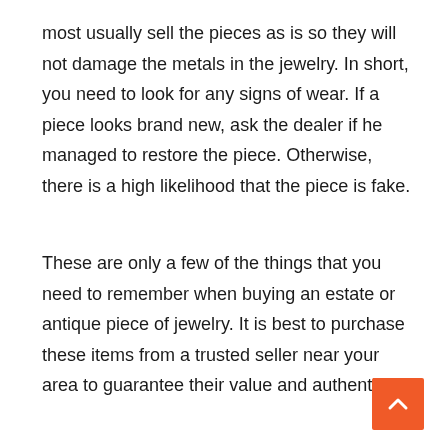most usually sell the pieces as is so they will not damage the metals in the jewelry. In short, you need to look for any signs of wear. If a piece looks brand new, ask the dealer if he managed to restore the piece. Otherwise, there is a high likelihood that the piece is fake.
These are only a few of the things that you need to remember when buying an estate or antique piece of jewelry. It is best to purchase these items from a trusted seller near your area to guarantee their value and authenticity.
[Figure (other): Orange scroll-to-top button with upward chevron arrow in bottom-right corner]